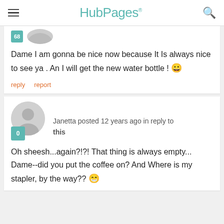HubPages
Dame I am gonna be nice now because It Is always nice to see ya . An I will get the new water bottle ! 😁
reply   report
Janetta posted 12 years ago in reply to this
Oh sheesh...again?!?! That thing is always empty...
Dame--did you put the coffee on? And Where is my stapler, by the way?? 😁